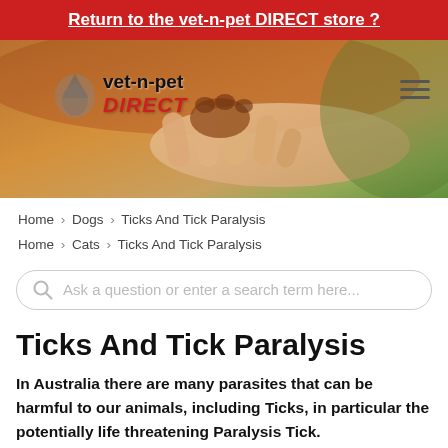Return to the vet-n-pet DIRECT store ?
[Figure (photo): Hero banner image showing a human hand holding a dog's paw, with a vet-n-pet DIRECT logo overlay on the left and a hamburger menu icon on the right]
Home > Dogs > Ticks And Tick Paralysis
Home > Cats > Ticks And Tick Paralysis
Ask a question or enter a search term here...
Ticks And Tick Paralysis
In Australia there are many parasites that can be harmful to our animals, including Ticks, in particular the potentially life threatening Paralysis Tick.